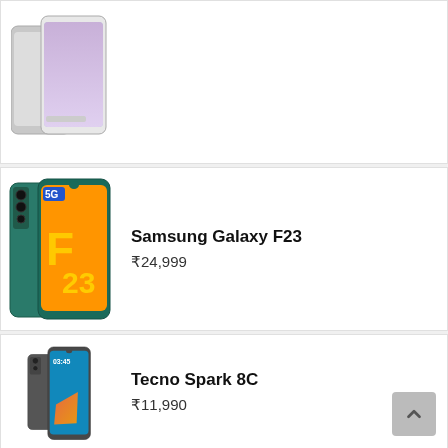[Figure (screenshot): Partially visible phone product card at top — shows two phones (white/silver Redmi and silver variant)]
[Figure (photo): Samsung Galaxy F23 5G phone image — teal/green color with 5G F23 branding on screen]
Samsung Galaxy F23
₹24,999
[Figure (photo): Tecno Spark 8C phone image — dark gray color]
Tecno Spark 8C
₹11,990
[Figure (photo): Xiaomi Poco X4 Pro 5G phone image — blue color with geometric pattern]
Xiaomi Poco X4 Pro 5G
₹54,990